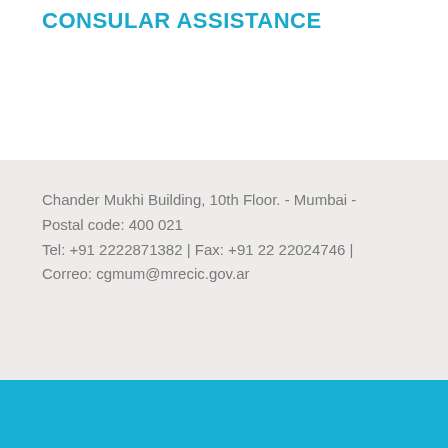CONSULAR ASSISTANCE
Chander Mukhi Building, 10th Floor. - Mumbai - Postal code: 400 021
Tel: +91 2222871382 | Fax: +91 22 22024746 |
Correo: cgmum@mrecic.gov.ar